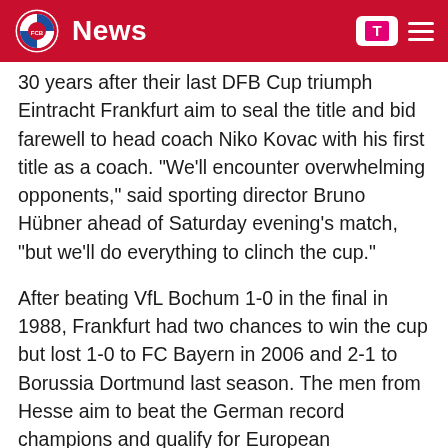News
30 years after their last DFB Cup triumph Eintracht Frankfurt aim to seal the title and bid farewell to head coach Niko Kovac with his first title as a coach. "We'll encounter overwhelming opponents," said sporting director Bruno Hübner ahead of Saturday evening's match, "but we'll do everything to clinch the cup."
After beating VfL Bochum 1-0 in the final in 1988, Frankfurt had two chances to win the cup but lost 1-0 to FC Bayern in 2006 and 2-1 to Borussia Dortmund last season. The men from Hesse aim to beat the German record champions and qualify for European competition.
A title for the Europa League
"If you want to achieve something, everything starts with thinking. Thinking determines your actions. And if you have